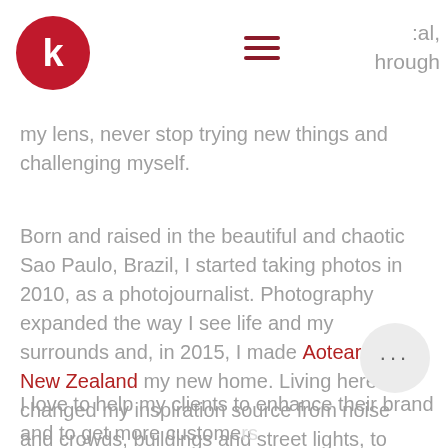[Figure (logo): Red circular logo with white letter K]
[Figure (other): Hamburger menu icon (three horizontal dark red lines)]
:al, hrough
my lens, never stop trying new things and challenging myself.
Born and raised in the beautiful and chaotic Sao Paulo, Brazil, I started taking photos in 2010, as a photojournalist. Photography expanded the way I see life and my surrounds and, in 2015, I made Aotearoa New Zealand my new home. Living here changed my inspiration source from noise and crowds, buildings and street lights, to sheep, the mountains and an infinity of stars in the sky.
I love to help my clients to enhance their brand and to get more customers